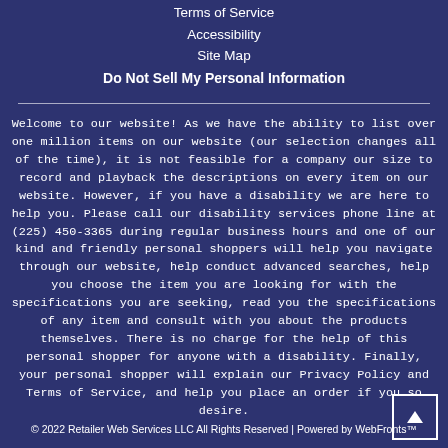Terms of Service
Accessibility
Site Map
Do Not Sell My Personal Information
Welcome to our website! As we have the ability to list over one million items on our website (our selection changes all of the time), it is not feasible for a company our size to record and playback the descriptions on every item on our website. However, if you have a disability we are here to help you. Please call our disability services phone line at (225) 450-3365 during regular business hours and one of our kind and friendly personal shoppers will help you navigate through our website, help conduct advanced searches, help you choose the item you are looking for with the specifications you are seeking, read you the specifications of any item and consult with you about the products themselves. There is no charge for the help of this personal shopper for anyone with a disability. Finally, your personal shopper will explain our Privacy Policy and Terms of Service, and help you place an order if you so desire.
© 2022 Retailer Web Services LLC All Rights Reserved | Powered by WebFronts™